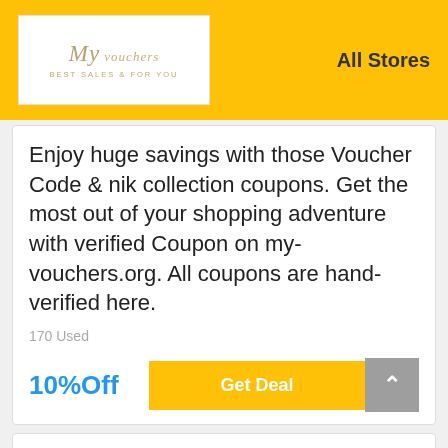[Figure (logo): My-vouchers logo with tagline 'BEST SALES & FOR YOU']
All Stores
Enjoy huge savings with those Voucher Code & nik collection coupons. Get the most out of your shopping adventure with verified Coupon on my-vouchers.org. All coupons are hand-verified here.
170 Used
10%Off
Get Deal
Save 10% with Fabulous